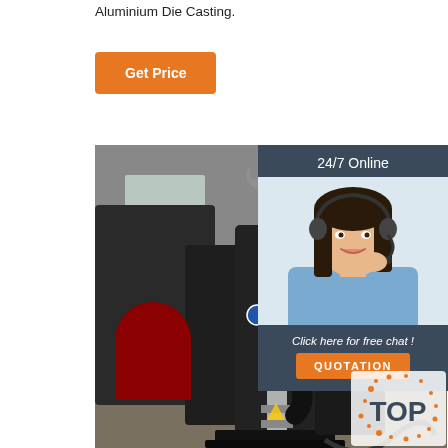Aluminium Die Casting.
Get Price
[Figure (photo): Industrial aluminium die casting machine in a factory setting, showing a large black machine with a silver vertical shaft, gauges, and control elements on a factory floor.]
24/7 Online
[Figure (photo): Customer service agent, a woman with dark hair wearing a headset, smiling.]
Click here for free chat !
QUOTATION
[Figure (logo): TOP logo with orange dots/sparks around the letters]